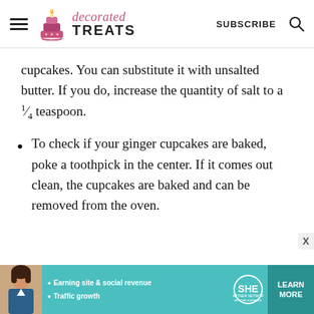decorated TREATS | SUBSCRIBE
cupcakes. You can substitute it with unsalted butter. If you do, increase the quantity of salt to a ¼ teaspoon.
To check if your ginger cupcakes are baked, poke a toothpick in the center. If it comes out clean, the cupcakes are baked and can be removed from the oven.
[Figure (infographic): Advertisement banner for SHE Partner Network with text: Earning site & social revenue, Traffic growth, LEARN MORE button]